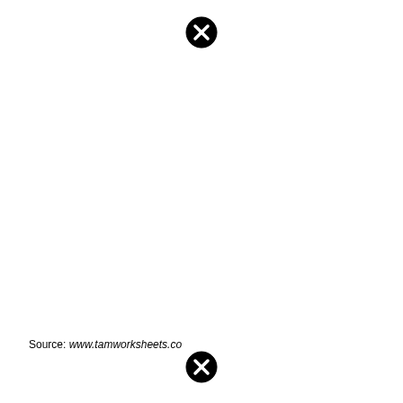[Figure (other): Black circle with white X icon at top center of page]
Source: www.tamworksheets.co
[Figure (other): Black circle with white X icon at bottom center of page]